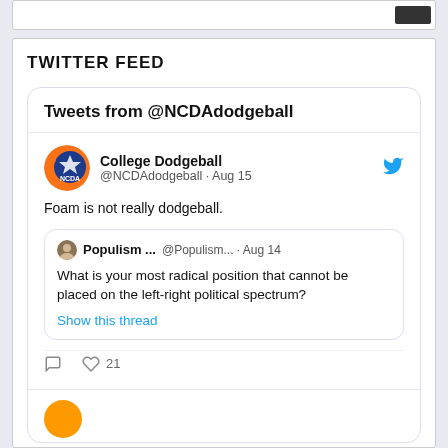TWITTER FEED
[Figure (screenshot): Twitter feed widget showing tweets from @NCDAdodgeball. A tweet by College Dodgeball (@NCDAdodgeball, Aug 15) says 'Foam is not really dodgeball.' with a quoted tweet from Populism... (@Populism..., Aug 14) asking 'What is your most radical position that cannot be placed on the left-right political spectrum?' with a 'Show this thread' link. The tweet has 21 likes.]